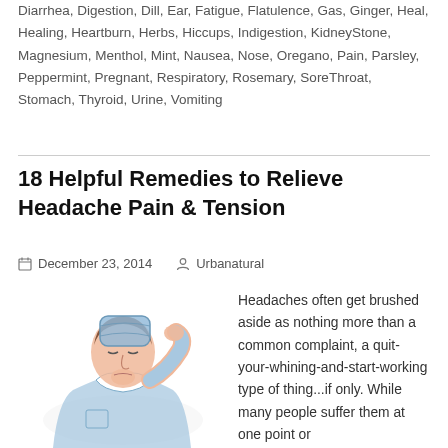Diarrhea, Digestion, Dill, Ear, Fatigue, Flatulence, Gas, Ginger, Heal, Healing, Heartburn, Herbs, Hiccups, Indigestion, KidneyStone, Magnesium, Menthol, Mint, Nausea, Nose, Oregano, Pain, Parsley, Peppermint, Pregnant, Respiratory, Rosemary, SoreThroat, Stomach, Thyroid, Urine, Vomiting
18 Helpful Remedies to Relieve Headache Pain & Tension
December 23, 2014   Urbanatural
[Figure (illustration): Watercolor illustration of a man pressing an ice pack to his head, wearing a light blue shirt, eyes closed, appearing to be in pain from a headache.]
Headaches often get brushed aside as nothing more than a common complaint, a quit-your-whining-and-start-working type of thing...if only. While many people suffer them at one point or